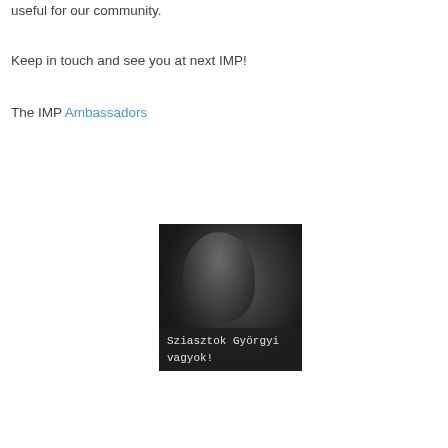useful for our community.
Keep in touch and see you at next IMP!
The IMP Ambassadors
[Figure (photo): Black and white photo of a woman smiling, with overlaid text 'Sziasztok Györgyi vagyok!' in monospace font on a dark semi-transparent background at the bottom of the image.]